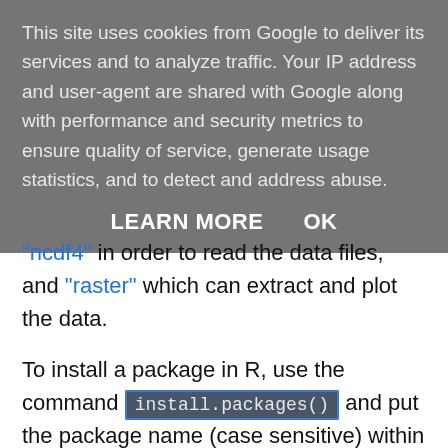This site uses cookies from Google to deliver its services and to analyze traffic. Your IP address and user-agent are shared with Google along with performance and security metrics to ensure quality of service, generate usage statistics, and to detect and address abuse.
LEARN MORE   OK
"ncdf4" in order to read the data files, and "raster" which can extract and plot the data.
To install a package in R, use the command install.packages() and put the package name (case sensitive) within the parenthesis and enclosed with quotation marks. For example, to install the "raster" package, type the following command into the R console: